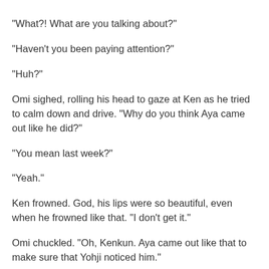“What?! What are you talking about?”
“Haven’t you been paying attention?”
“Huh?”
Omi sighed, rolling his head to gaze at Ken as he tried to calm down and drive. “Why do you think Aya came out like he did?”
“You mean last week?”
“Yeah.”
Ken frowned. God, his lips were so beautiful, even when he frowned like that. “I don’t get it.”
Omi chuckled. “Oh, Kenkun. Aya came out like that to make sure that Yohji noticed him.”